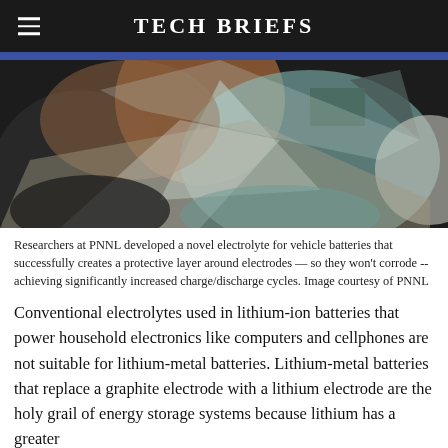Tech Briefs
[Figure (illustration): Abstract geometric illustration with overlapping shapes in muted tones of teal, brown, gray, black and white — representing a battery electrolyte concept. Image courtesy of PNNL.]
Researchers at PNNL developed a novel electrolyte for vehicle batteries that successfully creates a protective layer around electrodes — so they won't corrode -- achieving significantly increased charge/discharge cycles. Image courtesy of PNNL
Conventional electrolytes used in lithium-ion batteries that power household electronics like computers and cellphones are not suitable for lithium-metal batteries. Lithium-metal batteries that replace a graphite electrode with a lithium electrode are the holy grail of energy storage systems because lithium has a greater